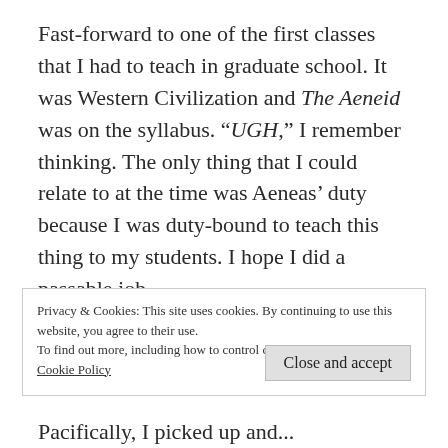Fast-forward to one of the first classes that I had to teach in graduate school. It was Western Civilization and The Aeneid was on the syllabus. “UGH,” I remember thinking. The only thing that I could relate to at the time was Aeneas’ duty because I was duty-bound to teach this thing to my students. I hope I did a passable job.
Privacy & Cookies: This site uses cookies. By continuing to use this website, you agree to their use.
To find out more, including how to control cookies, see here: Cookie Policy
Close and accept
Pacifically, I picked up and...